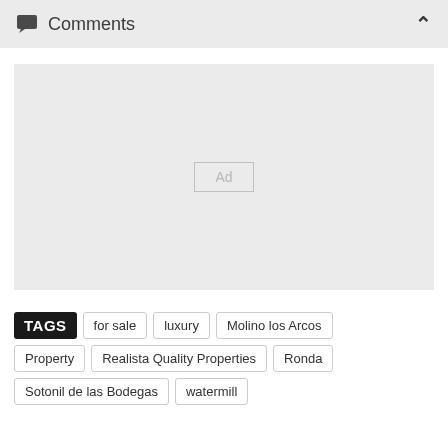Comments
[Figure (other): Advertisement placeholder box with 'Ad' label in center on gray background]
TAGS  for sale  luxury  Molino los Arcos  Property  Realista Quality Properties  Ronda  Sotonil de las Bodegas  watermill